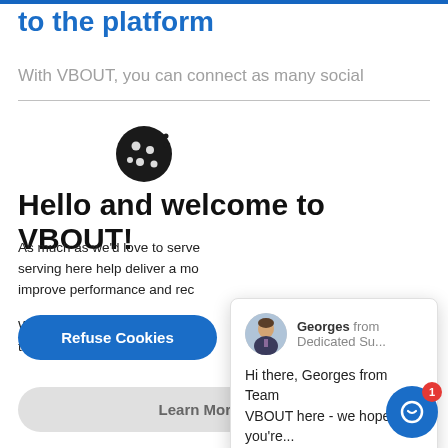to the platform
With VBOUT, you can connect as many social
[Figure (illustration): Cookie icon - a cookie with chocolate chips and dots]
Hello and welcome to VBOUT!
As much as we'd love to serve... serving here help deliver a mo... improve performance and rec...
We also understand that your... transparency and control on h...
[Figure (screenshot): Chat popup with photo of Georges from Dedicated Su... with message: Hi there, Georges from Team VBOUT here - we hope you're...]
Refuse Cookies
Accept Cookies
Learn More